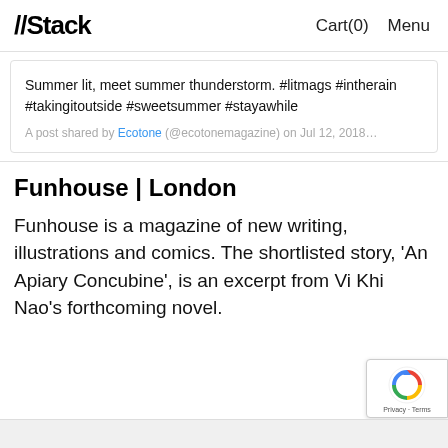//Stack   Cart(0)   Menu
Summer lit, meet summer thunderstorm. #litmags #intherain #takingitoutside #sweetsummer #stayawhile
A post shared by Ecotone (@ecotonemagazine) on Jul 12, 2018…
Funhouse | London
Funhouse is a magazine of new writing, illustrations and comics. The shortlisted story, 'An Apiary Concubine', is an excerpt from Vi Khi Nao's forthcoming novel.